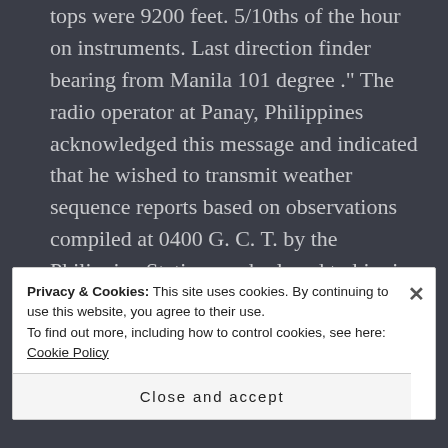tops were 9200 feet. 5/10ths of the hour on instruments. Last direction finder bearing from Manila 101 degree ." The radio operator at Panay, Philippines acknowledged this message and indicated that he wished to transmit weather sequence reports based on observations compiled at 0400 G. C. T. by the Philippine Stations and relayed to him in accordance with Company procedure. William McCarty, the Clipper radio operator, replied as follows: "Stand by
Privacy & Cookies: This site uses cookies. By continuing to use this website, you agree to their use.
To find out more, including how to control cookies, see here: Cookie Policy
Close and accept